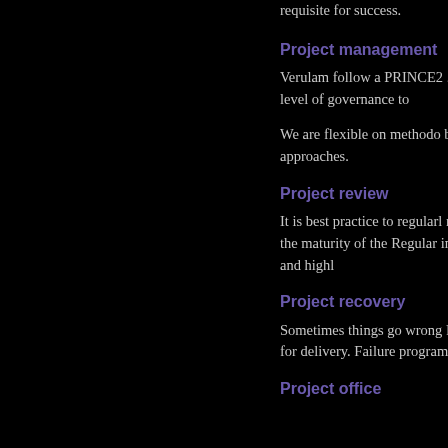requisite for success.
Project management
Verulam follow a PRINCE2 . We bring the right tools for e right level of governance to
We are flexible on methodo best, for example we have e waterfall approaches.
Project review
It is best practice to regularl rapid review service, taking assessing the maturity of the Regular independent projec doing things right, and highl
Project recovery
Sometimes things go wrong Following an initial project re strategy for delivery. Failure programme management be delivery in place.
Project office